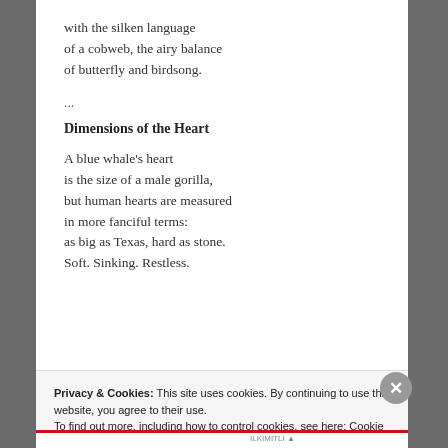with the silken language
of a cobweb, the airy balance
of butterfly and birdsong.
...
Dimensions of the Heart
A blue whale's heart
is the size of a male gorilla,
but human hearts are measured
in more fanciful terms:
as big as Texas, hard as stone.
Soft. Sinking. Restless.
Privacy & Cookies: This site uses cookies. By continuing to use this website, you agree to their use.
To find out more, including how to control cookies, see here: Cookie Policy
Close and accept